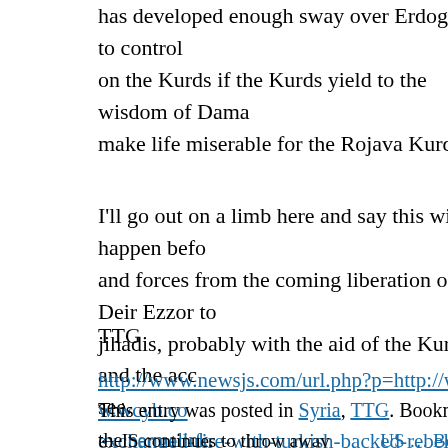has developed enough sway over Erdogan to control on the Kurds if the Kurds yield to the wisdom of Dama make life miserable for the Rojava Kurds.
I'll go out on a limb here and say this will happen befo and forces from the coming liberation of Deir Ezzor to jihadis, probably with the aid of the Kurds and the acc see.
TTG
http://www.newsjs.com/url.php?p=http://www.wcyb.co exchanged-fire-with-turkish-backed-rebels-in-syria/61
This entry was posted in Syria, TTG. Bookmark the permalink.
← IS continues to throw away reserves – 29 August 2017   US … Bombe